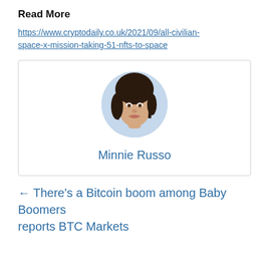Read More
https://www.cryptodaily.co.uk/2021/09/all-civilian-space-x-mission-taking-51-nfts-to-space
[Figure (photo): Circular portrait photo of Minnie Russo, a young woman with dark hair, smiling, inside a bordered author card.]
Minnie Russo
← There's a Bitcoin boom among Baby Boomers reports BTC Markets